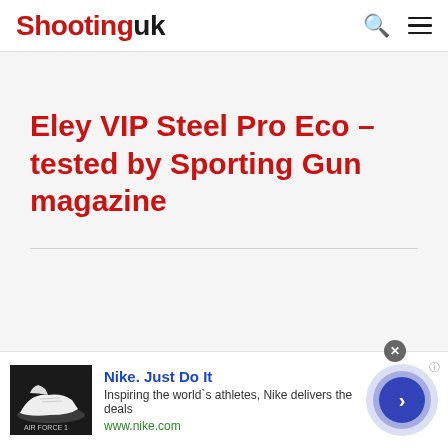Shooting uk
Eley VIP Steel Pro Eco – tested by Sporting Gun magazine
[Figure (screenshot): Nike advertisement banner with shoe image, Nike Just Do It headline, tagline and call-to-action button]